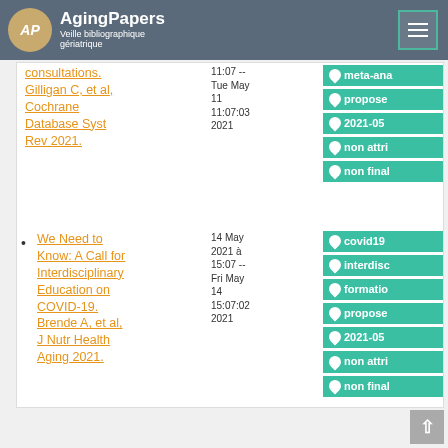AgingPapers — Veille bibliographique gériatrique
consultations. Gilligan C, et al. Cochrane Database Syst Rev 2021. — Tue May 11 11:07:03 2021 — tags: meta-ana, propose, 2021-05, non attri, non final
We Need to Know: A Call for Interdisciplinary Education on COVID-19. Brende A, et al. J Nutr Health Aging 2021. — 14 May 2021 à 15:07 -- Fri May 14 15:07:02 2021 — tags: covid19, interdisc, formatio, propose, 2021-05, non attri, non final